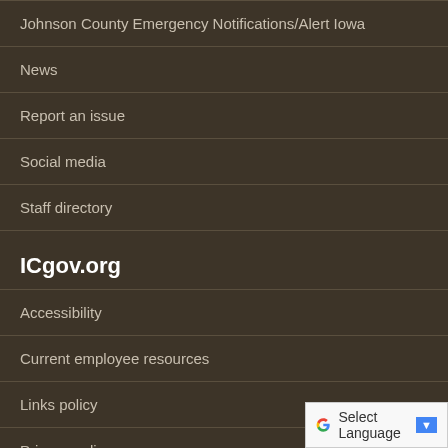Johnson County Emergency Notifications/Alert Iowa
News
Report an issue
Social media
Staff directory
ICgov.org
Accessibility
Current employee resources
Links policy
Privacy policy
Social media policy
Warranties and disclaimers
[Figure (screenshot): Google Translate widget with 'Select Language' text and dropdown arrow]